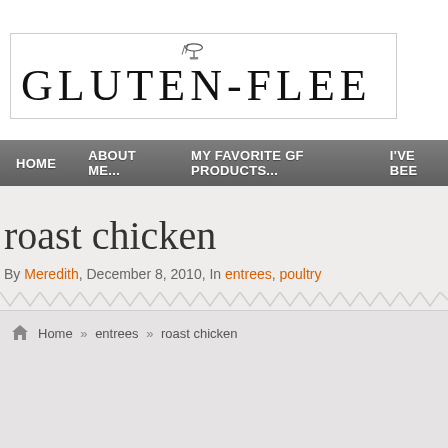[Figure (logo): Gluten-Flee blog logo with hand-drawn style font and a small utensil/clip image above the text]
HOME   ABOUT ME...   MY FAVORITE GF PRODUCTS...   I'VE BEE
roast chicken
By Meredith, December 8, 2010, In entrees, poultry
Home » entrees » roast chicken